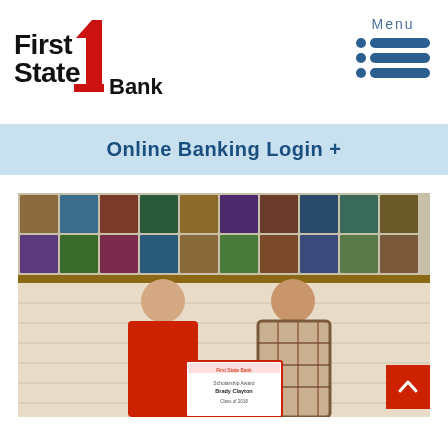[Figure (logo): First State Bank logo with red numeral 1 and black text]
[Figure (infographic): Menu icon with three horizontal bars and dots, labeled Menu]
Online Banking Login +
[Figure (photo): Two men standing in front of colorful tile artwork wall, one in red shirt and one in plaid shirt, holding a certificate/award]